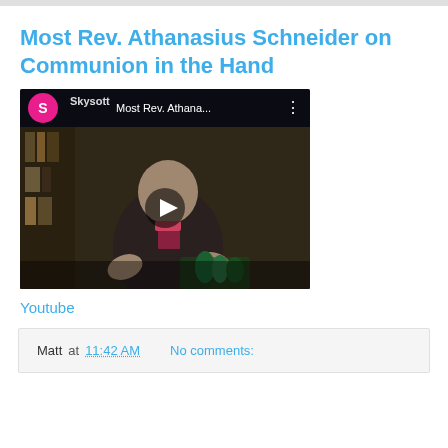Most Rev. Athanasius Schneider on Communion in the Hand
[Figure (screenshot): YouTube video thumbnail showing Most Rev. Athanasius Schneider speaking, with a play button overlay. The video player UI shows a pink avatar with 'S', text 'Most Rev. Athana...' and a three-dot menu. The Skysoft watermark is visible. The bishop is wearing dark clerical clothing and gesturing with his hands.]
Youtube
Matt at 11:42 AM   No comments: